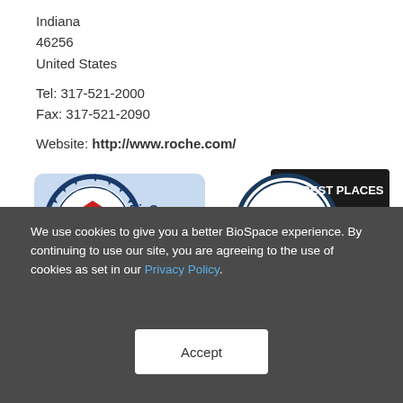Indiana
46256
United States

Tel: 317-521-2000
Fax: 317-521-2090

Website: http://www.roche.com/
[Figure (logo): BioSpace Ideal Employer badge (blue gear/seal shape with red arrow logo) and Best Places to Work 2022 badge (circular emblem with black and red ribbon banner, presented by BioSpace)]
We use cookies to give you a better BioSpace experience. By continuing to use our site, you are agreeing to the use of cookies as set in our Privacy Policy.
Accept